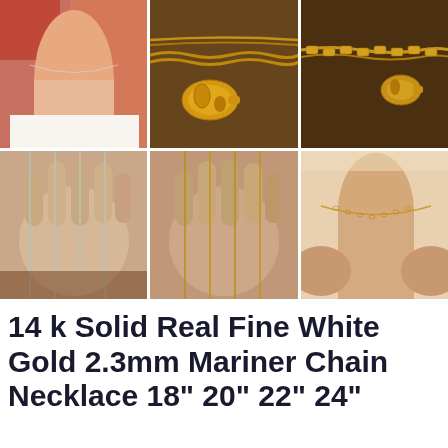[Figure (photo): Six product photos of a gold/white gold mariner chain necklace in a 2x3 grid: top-left shows necklace worn on a person's neck, top-middle shows gold chain clasp close-up, top-right shows gold chain close-up with clasp, bottom-left shows silver/white gold chains in a hand, bottom-middle shows gold chains in a hand, bottom-right shows necklace worn on a person's neck]
14 k Solid Real Fine White Gold 2.3mm Mariner Chain Necklace 18" 20" 22" 24"